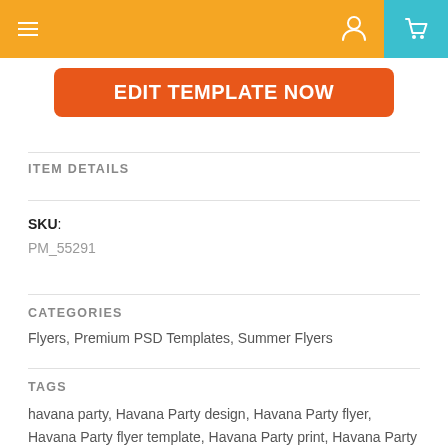≡  (user icon)  (cart icon)
[Figure (other): Orange button with white bold text: EDIT TEMPLATE NOW]
ITEM DETAILS
SKU: PM_55291
CATEGORIES
Flyers, Premium PSD Templates, Summer Flyers
TAGS
havana party, Havana Party design, Havana Party flyer, Havana Party flyer template, Havana Party print, Havana Party psd, Havana Party psd template, Havana print, Havana psd template, Havana template